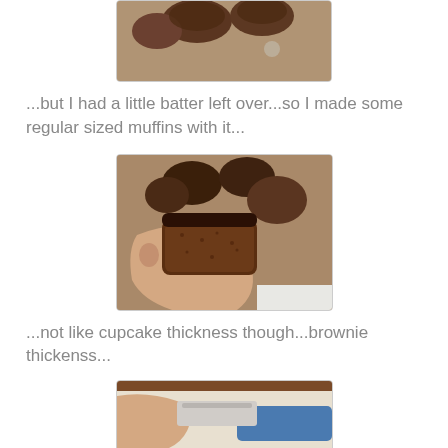[Figure (photo): Top portion of a photo showing chocolate muffins on a granite countertop, partially cropped at the top of the page]
...but I had a little batter left over...so I made some regular sized muffins with it...
[Figure (photo): A hand holding a chocolate brownie-style muffin split in half showing the dense brownie-like interior, with more chocolate muffins visible on a granite countertop in the background]
...not like cupcake thickness though...brownie thickenss...
[Figure (photo): Partial view of a photo at the bottom of the page, showing what appears to be a hand and some kitchen items]